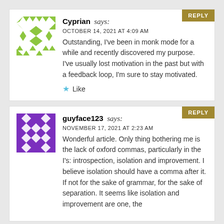Cyprian says: OCTOBER 14, 2021 AT 4:09 AM Outstanding, I've been in monk mode for a while and recently discovered my purpose. I've usually lost motivation in the past but with a feedback loop, I'm sure to stay motivated. Like
guyface123 says: NOVEMBER 17, 2021 AT 2:23 AM Wonderful article. Only thing bothering me is the lack of oxford commas, particularly in the I's: introspection, isolation and improvement. I believe isolation should have a comma after it. If not for the sake of grammar, for the sake of separation. It seems like isolation and improvement are one, the...